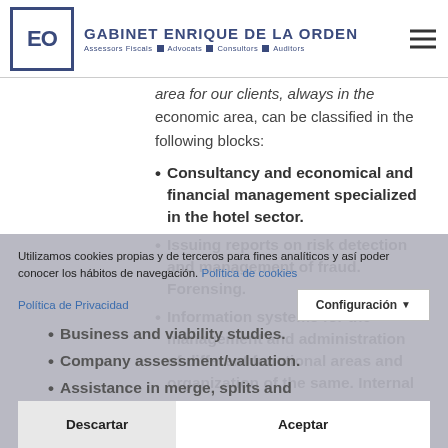GABINET ENRIQUE DE LA ORDEN — ASSESSORS FISCALS · ADVOCATS · CONSULTORS · AUDITORS
area for our clients, always in the economic area, can be classified in the following blocks:
Consultancy and economical and financial management specialized in the hotel sector.
Issuing reports on risk detection and management of fraud. Forensing.
Information systems for the management and administration of different functional areas and organization of the same. Internal
Business and viability studies.
Company assessment/valuation.
Assistance in merge, splits and